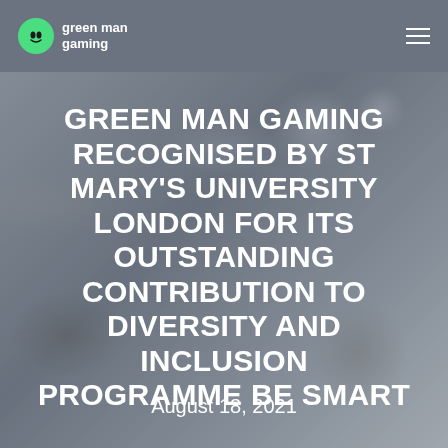green man gaming
[Figure (photo): Office meeting scene with people sitting around a table, greyed out background photo]
GREEN MAN GAMING RECOGNISED BY ST MARY'S UNIVERSITY LONDON FOR ITS OUTSTANDING CONTRIBUTION TO DIVERSITY AND INCLUSION PROGRAMME BE SMART
August 18, 2021